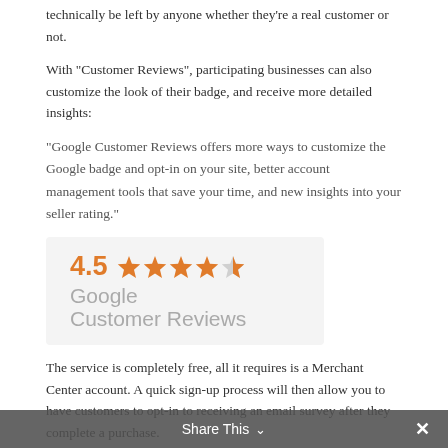technically be left by anyone whether they're a real customer or not.
With “Customer Reviews”, participating businesses can also customize the look of their badge, and receive more detailed insights:
“Google Customer Reviews offers more ways to customize the Google badge and opt-in on your site, better account management tools that save your time, and new insights into your seller rating.”
[Figure (illustration): Google Customer Reviews badge showing 4.5 star rating with orange stars and grey Google Customer Reviews text on light grey background]
The service is completely free, all it requires is a Merchant Center account. A quick sign-up process will then allow you to have customers to opt-in to receiving an email survey after they complete a purchase.
The survey is designed for customers to review their buying experience, and the data will be used to help create a seller rating for your Merchant Center account.
Share This